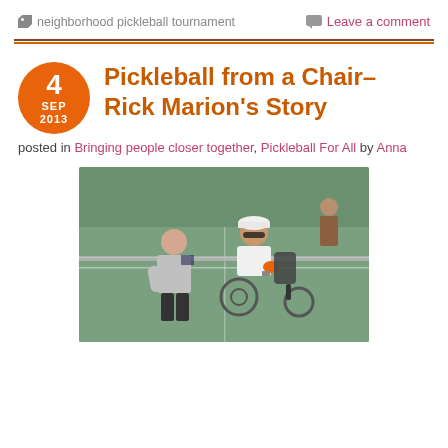neighborhood pickleball tournament   Leave a comment
Pickleball from a Chair– Rick Marion's Story
posted in Bringing people closer together, Pickleball For All by Anna
[Figure (photo): Two pickleball players on a court — one standing in a grey and navy raglan shirt and dark shorts, one seated in a wheelchair wearing a white shirt and cap with sunglasses, holding a pickleball paddle. A third person is visible in the background.]